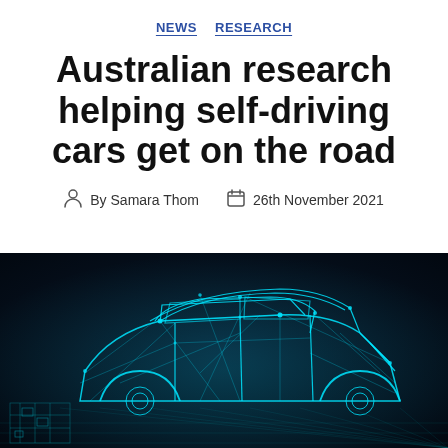NEWS   RESEARCH
Australian research helping self-driving cars get on the road
By Samara Thom   26th November 2021
[Figure (illustration): Digital wireframe/holographic rendering of a self-driving car with cyan/teal glowing lines on a dark background, showing sensor network visualization]